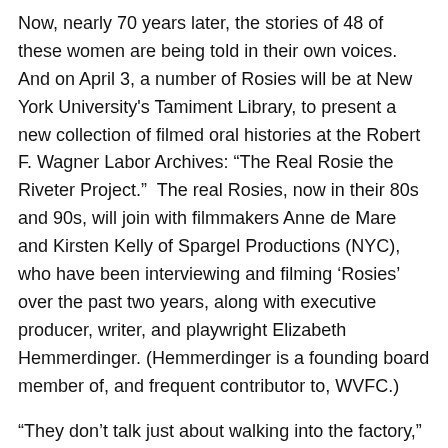Now, nearly 70 years later, the stories of 48 of these women are being told in their own voices. And on April 3, a number of Rosies will be at New York University's Tamiment Library, to present a new collection of filmed oral histories at the Robert F. Wagner Labor Archives: “The Real Rosie the Riveter Project.” The real Rosies, now in their 80s and 90s, will join with filmmakers Anne de Mare and Kirsten Kelly of Spargel Productions (NYC), who have been interviewing and filming ‘Rosies’ over the past two years, along with executive producer, writer, and playwright Elizabeth Hemmerdinger. (Hemmerdinger is a founding board member of, and frequent contributor to, WVFC.)
“They don’t talk just about walking into the factory,” Hemmerdinger has said. “We get their whole lives. We